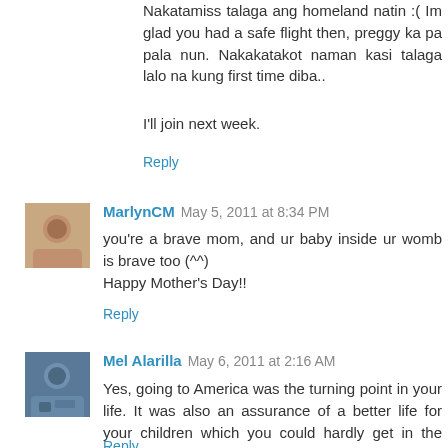Nakatamiss talaga ang homeland natin :( Im glad you had a safe flight then, preggy ka pa pala nun. Nakakatakot naman kasi talaga lalo na kung first time diba..
I'll join next week.
Reply
MarlynCM May 5, 2011 at 8:34 PM
you're a brave mom, and ur baby inside ur womb is brave too (^^)
Happy Mother's Day!!
Reply
Mel Alarilla May 6, 2011 at 2:16 AM
Yes, going to America was the turning point in your life. It was also an assurance of a better life for your children which you could hardly get in the Philippines. Thanks for the post. God bless you all always.
Reply